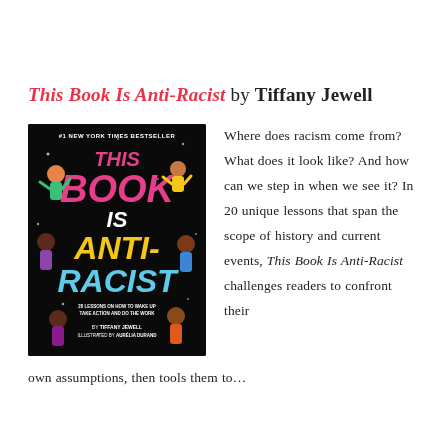This Book Is Anti-Racist by Tiffany Jewell
[Figure (illustration): Book cover of 'This Book Is Anti-Racist' by Tiffany Jewell, illustrated by Aurélia Durand. Black background with colorful illustrated figures of diverse people dancing and the title text in bold pink, yellow, and teal letters. Marked as #1 New York Times Bestseller.]
Where does racism come from? What does it look like? And how can we step in when we see it? In 20 unique lessons that span the scope of history and current events, This Book Is Anti-Racist challenges readers to confront their own assumptions, then tools them to...